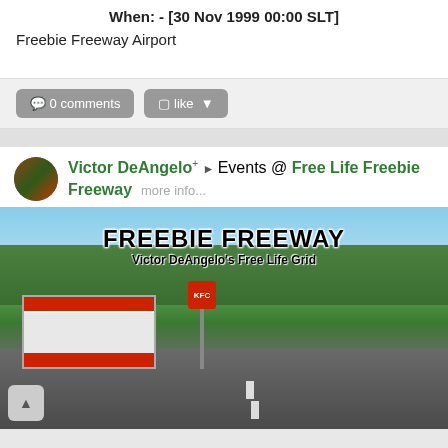When: - [30 Nov 1999 00:00 SLT]
Freebie Freeway Airport
0 comments
like
Victor DeAngelo+ ▶ Events @ Free Life Freebie Freeway   more info...
[Figure (screenshot): Virtual world screenshot showing FREEBIE FREEWAY - Victor DeAngelo's Free Life Grid, with a KFC restaurant building, road, and trees in a 3D virtual environment.]